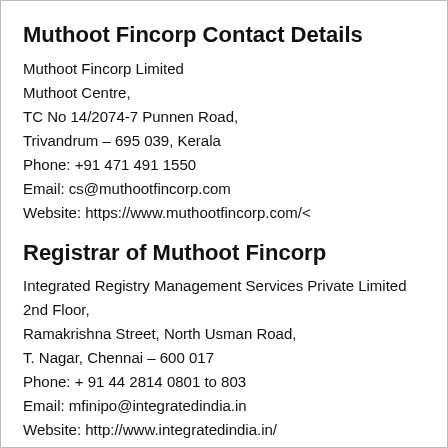Muthoot Fincorp Contact Details
Muthoot Fincorp Limited
Muthoot Centre,
TC No 14/2074-7 Punnen Road,
Trivandrum – 695 039, Kerala
Phone: +91 471 491 1550
Email: cs@muthootfincorp.com
Website: https://www.muthootfincorp.com/<
Registrar of Muthoot Fincorp
Integrated Registry Management Services Private Limited
2nd Floor,
Ramakrishna Street, North Usman Road,
T. Nagar, Chennai – 600 017
Phone: + 91 44 2814 0801 to 803
Email: mfinipo@integratedindia.in
Website: http://www.integratedindia.in/
Muthoot Fincorp NCD Lead Manager